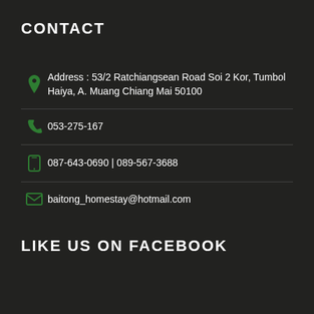CONTACT
Address : 53/2 Ratchiangsean Road Soi 2 Kor, Tumbol Haiya, A. Muang Chiang Mai 50100
053-275-167
087-643-0690 | 089-567-3688
baitong_homestay@hotmail.com
LIKE US ON FACEBOOK